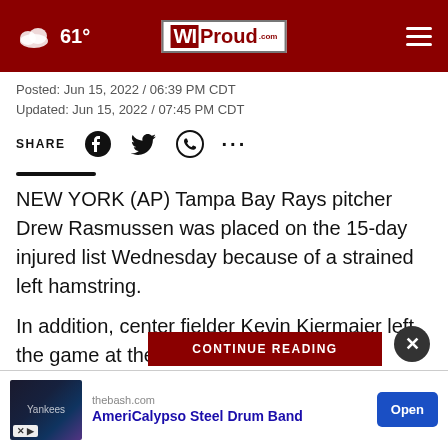61° WIProud.com
Posted: Jun 15, 2022 / 06:39 PM CDT
Updated: Jun 15, 2022 / 07:45 PM CDT
SHARE
NEW YORK (AP) Tampa Bay Rays pitcher Drew Rasmussen was placed on the 15-day injured list Wednesday because of a strained left hamstring.
In addition, center fielder Kevin Kiermaier left the game at the New York Yankees in the middle of the third inning du… atio…
CONTINUE READING
thebash.com
AmeriCalypso Steel Drum Band
Open